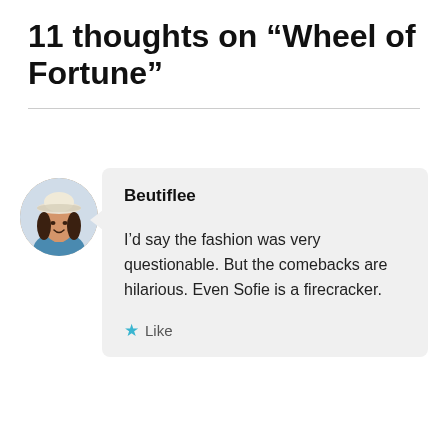11 thoughts on “Wheel of Fortune”
Beutiflee
I’d say the fashion was very questionable. But the comebacks are hilarious. Even Sofie is a firecracker.
★ Like